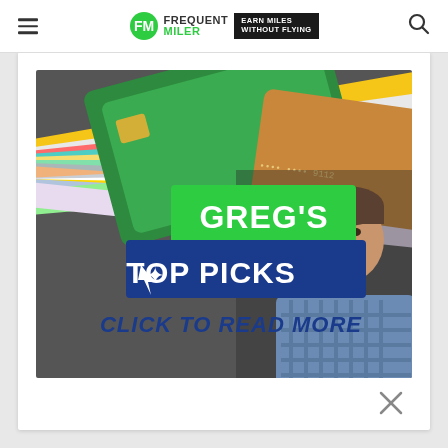Frequent Miler — Earn Miles Without Flying
[Figure (infographic): Promotional banner image for 'Greg's Top Picks' on the Frequent Miler website. Shows a stack of colorful credit cards in the background with text overlays: a green rectangle with 'GREG'S' in white bold capitals, a blue rectangle with a cursor/star icon and 'TOP PICKS' in white bold capitals, and below in blue handwritten-style text 'CLICK TO READ MORE'. A smiling middle-aged man in a blue checkered shirt appears on the right side of the image.]